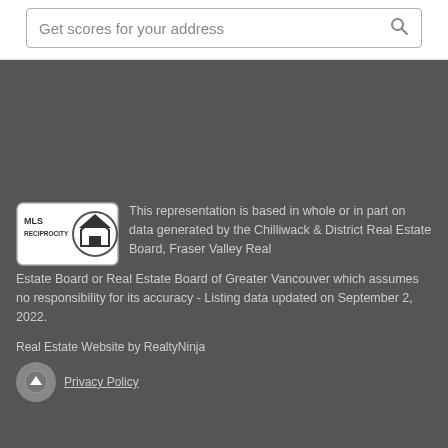Get scores for your address
[Figure (logo): MLS Reciprocity logo — a house icon with 'MLS RECIPROCITY' text in a rounded rectangle border]
This representation is based in whole or in part on data generated by the Chilliwack & District Real Estate Board, Fraser Valley Real Estate Board or Real Estate Board of Greater Vancouver which assumes no responsibility for its accuracy - Listing data updated on September 2, 2022.
Real Estate Website by RealtyNinja
Privacy Policy